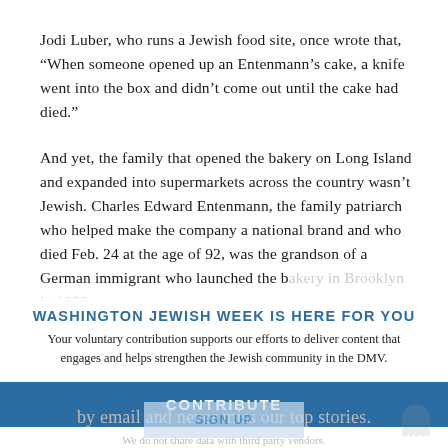Jodi Luber, who runs a Jewish food site, once wrote that, “When someone opened up an Entenmann’s cake, a knife went into the box and didn’t come out until the cake had died.”
And yet, the family that opened the bakery on Long Island and expanded into supermarkets across the country wasn’t Jewish. Charles Edward Entenmann, the family patriarch who helped make the company a national brand and who died Feb. 24 at the age of 92, was the grandson of a German immigrant who launched the bakery in Brooklyn in 1898.
WASHINGTON JEWISH WEEK IS HERE FOR YOU
Your voluntary contribution supports our efforts to deliver content that engages and helps strengthen the Jewish community in the DMV.
CONTRIBUTE